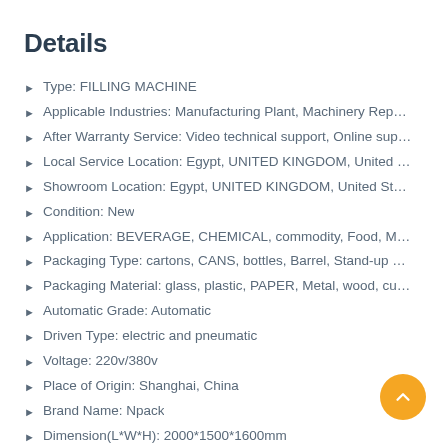Details
Type: FILLING MACHINE
Applicable Industries: Manufacturing Plant, Machinery Repair S…
After Warranty Service: Video technical support, Online support
Local Service Location: Egypt, UNITED KINGDOM, United States, GE…
Showroom Location: Egypt, UNITED KINGDOM, United States, GER…
Condition: New
Application: BEVERAGE, CHEMICAL, commodity, Food, Medical, M…
Packaging Type: cartons, CANS, bottles, Barrel, Stand-up Pouch,…
Packaging Material: glass, plastic, PAPER, Metal, wood, customiz…
Automatic Grade: Automatic
Driven Type: electric and pneumatic
Voltage: 220v/380v
Place of Origin: Shanghai, China
Brand Name: Npack
Dimension(L*W*H): 2000*1500*1600mm
Weight: 450kg